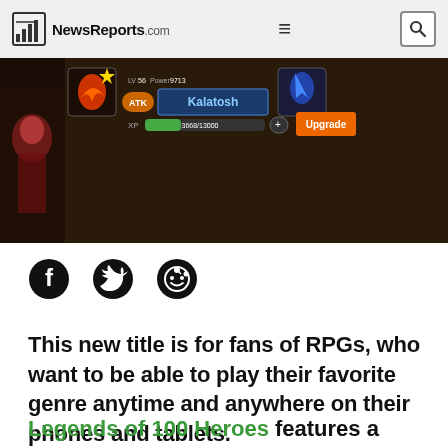NewsReports.com
[Figure (screenshot): Game screenshot showing character upgrade screen with Kalatosh character, stances, XP bar and upgrade button]
[Figure (infographic): Social sharing icons: Facebook, Twitter, Reddit]
This new title is for fans of RPGs, who want to be able to play their favorite genre anytime and anywhere on their phones and tablets.
Legends of 100 Heroes features a meaty